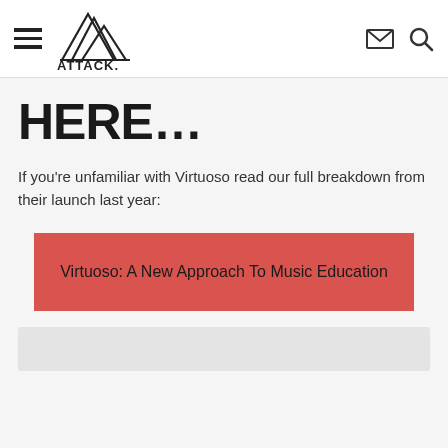ATTACK. [logo with hamburger menu, mail icon, search icon]
HERE…
If you're unfamiliar with Virtuoso read our full breakdown from their launch last year:
[Figure (other): Red button/link: Virtuoso: A New Approach To Music Education]
Virtuoso: A New Approach To Music Education